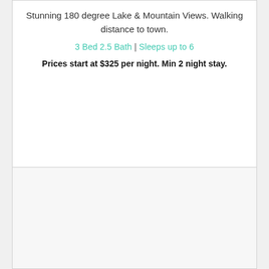Stunning 180 degree Lake & Mountain Views. Walking distance to town.
3 Bed 2.5 Bath | Sleeps up to 6
Prices start at $325 per night. Min 2 night stay.